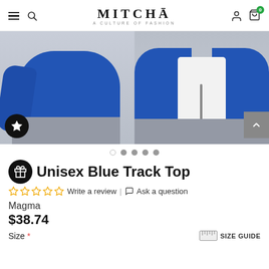MITCHĀ — A CULTURE OF FASHION
[Figure (photo): Product photo showing two people wearing a blue unisex track jacket. Left shows front/side view of the blue jacket with grey pants. Right shows the jacket partially open revealing a white shirt underneath, with grey pants.]
Unisex Blue Track Top
Write a review | Ask a question
Magma
$38.74
Size * SIZE GUIDE